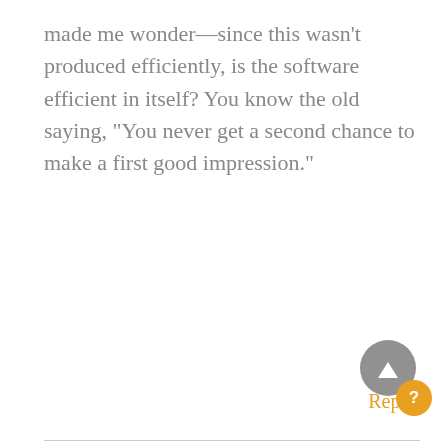made me wonder—since this wasn't produced efficiently, is the software efficient in itself? You know the old saying, “You never get a second chance to make a first good impression.”
Reply
Mathilde says:
March 5, 2015 at 8:14 pm
Rish, I am sorry you have problems with the sound. I will made sure that the music is less loud on my next videos. I cannot help my